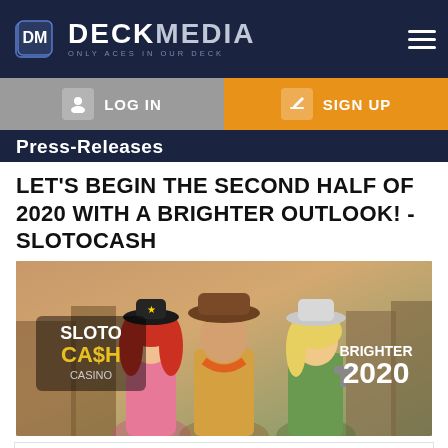DECK MEDIA — ONLY ACES IN OUR DECK
Press-Releases
LET'S BEGIN THE SECOND HALF OF 2020 WITH A BRIGHTER OUTLOOK! - SLOTOCASH
[Figure (illustration): SlotoCash Casino banner showing three western-themed cartoon characters (a redhead woman, a cowboy man, and a blonde woman with a gun) with the text 'BRIGHTER 2020' on the right side and the SlotoCash Casino logo on the left.]
July 02, 2020
While we can expect social distancing guidelines to remain for the near future, we can still look forward to a much brighter second half of 2020 at Slotocash. As July